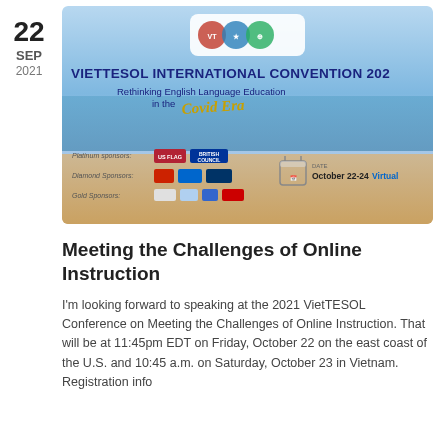22
SEP
2021
[Figure (illustration): VietTESOL International Convention 2021 banner. Shows logos at top, title 'VIETTESOL INTERNATIONAL CONVENTION 2021', subtitle 'Rethinking English Language Education in the Covid Era' in cursive, beach/ocean background gradient, sponsor logos (Platinum sponsors, Diamond Sponsors, Gold Sponsors), and date 'October 22-24 Virtual'.]
Meeting the Challenges of Online Instruction
I'm looking forward to speaking at the 2021 VietTESOL Conference on Meeting the Challenges of Online Instruction. That will be at 11:45pm EDT on Friday, October 22 on the east coast of the U.S. and 10:45 a.m. on Saturday, October 23 in Vietnam.  Registration info